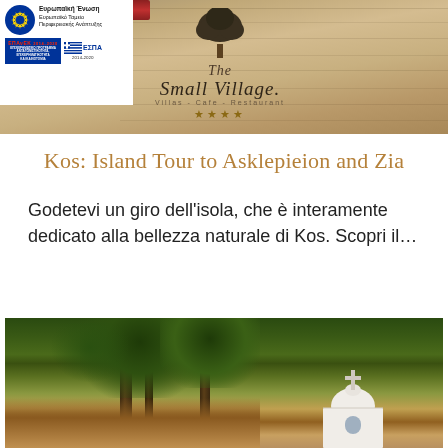[Figure (photo): Header banner with The Small Village hotel logo (tree illustration, script text 'The Small Village', subtitle 'Villas - Cafe - Restaurant', four stars) on a sandy/stone background. Top-left corner shows EU funding logos: European Union / European Regional Development Fund badge, EPAnEK 2014-2020 and ESPA 2014-2020 logos.]
Kos: Island Tour to Asklepieion and Zia
Godetevi un giro dell'isola, che è interamente dedicato alla bellezza naturale di Kos. Scopri il…
[Figure (photo): Outdoor photo of a forested hillside with pine trees and a small white Greek Orthodox church with a cross visible on the right side.]